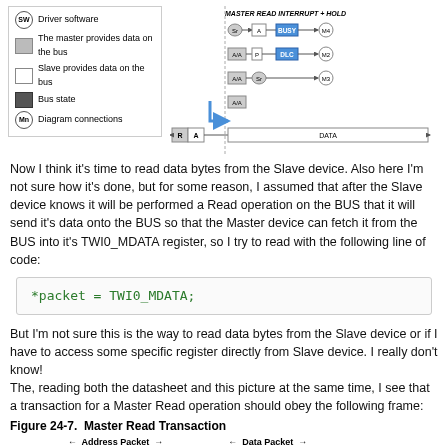[Figure (schematic): Legend box showing: Driver software (circle with SW), The master provides data on the bus (gray swatch), Slave provides data on the bus (white swatch), Bus state (dark swatch), Diagram connections (circle with Mn). Alongside: MASTER READ INTERRUPT + HOLD state diagram with nodes Sr, A, BUSY, M4, A/A, P, DLC, M2, A/A, Sr, M3, A/A, R, A, DATA blocks.]
Now I think it's time to read data bytes from the Slave device. Also here I'm not sure how it's done, but for some reason, I assumed that after the Slave device knows it will be performed a Read operation on the BUS that it will send it's data onto the BUS so that the Master device can fetch it from the BUS into it's TWI0_MDATA register, so I try to read with the following line of code:
But I'm not sure this is the way to read data bytes from the Slave device or if I have to access some specific register directly from Slave device. I really don't know!
The, reading both the datasheet and this picture at the same time, I see that a transaction for a Master Read operation should obey the following frame:
Figure 24-7.  Master Read Transaction
| S | ADDRESS | R | A | DATA | A | DATA | Ā | P |
| --- | --- | --- | --- | --- | --- | --- | --- | --- |